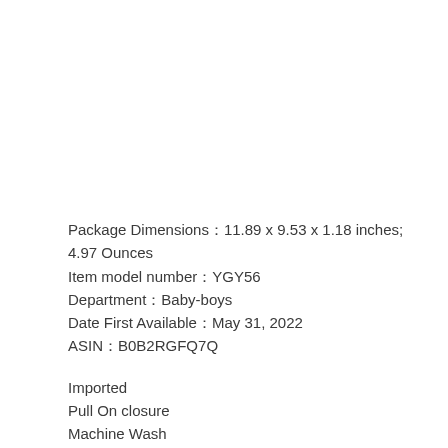Package Dimensions：11.89 x 9.53 x 1.18 inches; 4.97 Ounces
Item model number：YGY56
Department：Baby-boys
Date First Available：May 31, 2022
ASIN：B0B2RGFQ7Q
Imported
Pull On closure
Machine Wash
◆ Comfortable Material　Toddler boy clothes